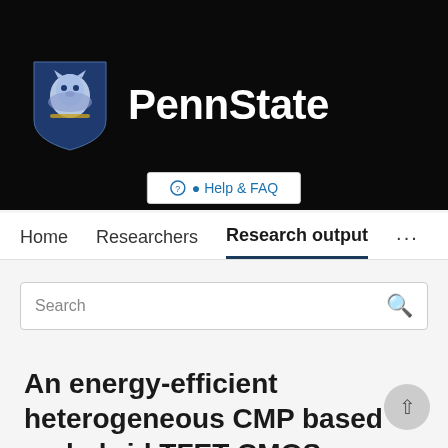[Figure (logo): Penn State logo with lion shield and white PennState wordmark on black background]
Help & FAQ
Home   Researchers   Research output   ...
Search
An energy-efficient heterogeneous CMP based on hybrid TFET-CMOS cores